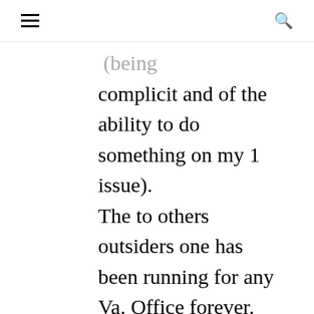☰  🔍
......(being complicit and of the ability to do something on my 1 issue). The to others outsiders one has been running for any Va. Office forever. Make no mistake the Trump (immigration) voter will think all is